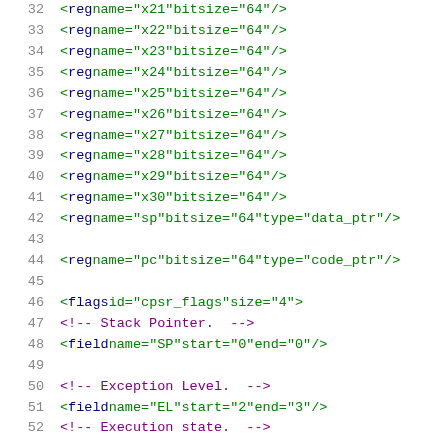32    <reg name="x21" bitsize="64"/>
33    <reg name="x22" bitsize="64"/>
34    <reg name="x23" bitsize="64"/>
35    <reg name="x24" bitsize="64"/>
36    <reg name="x25" bitsize="64"/>
37    <reg name="x26" bitsize="64"/>
38    <reg name="x27" bitsize="64"/>
39    <reg name="x28" bitsize="64"/>
40    <reg name="x29" bitsize="64"/>
41    <reg name="x30" bitsize="64"/>
42    <reg name="sp" bitsize="64" type="data_ptr"/>
43
44    <reg name="pc" bitsize="64" type="code_ptr"/>
45
46    <flags id="cpsr_flags" size="4">
47      <!-- Stack Pointer.  -->
48      <field name="SP" start="0" end="0"/>
49
50      <!-- Exception Level.  -->
51      <field name="EL" start="2" end="3"/>
52      <!-- Execution state.  -->